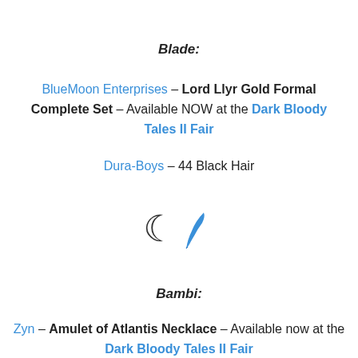Blade:
BlueMoon Enterprises – Lord Llyr Gold Formal Complete Set – Available NOW at the Dark Bloody Tales II Fair
Dura-Boys – 44 Black Hair
[Figure (illustration): Crescent moon symbol and a blue feather/quill icon]
Bambi:
Zyn – Amulet of Atlantis Necklace – Available now at the Dark Bloody Tales II Fair